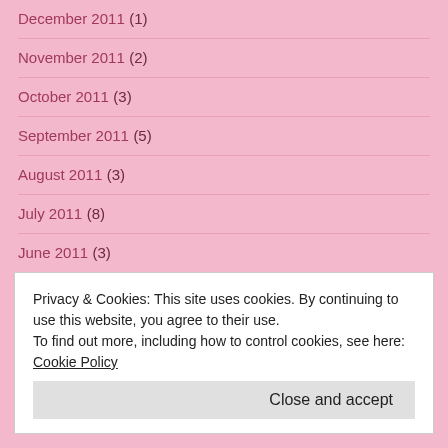December 2011 (1)
November 2011 (2)
October 2011 (3)
September 2011 (5)
August 2011 (3)
July 2011 (8)
June 2011 (3)
CATEGORIES
Coronavirus and Quarantine
Food and Recipes
Privacy & Cookies: This site uses cookies. By continuing to use this website, you agree to their use.
To find out more, including how to control cookies, see here: Cookie Policy
Close and accept